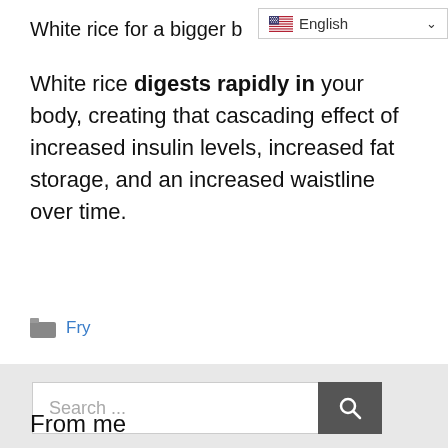White rice for a bigger b…
White rice digests rapidly in your body, creating that cascading effect of increased insulin levels, increased fat storage, and an increased waistline over time.
Fry
Search ...
From me